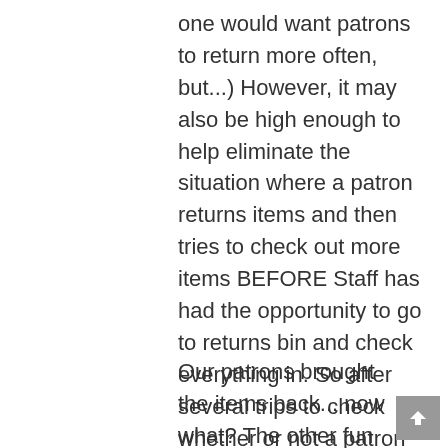one would want patrons to return more often, but...)  However, it may also be high enough to help eliminate the situation where a patron returns items and then tries to check out more items BEFORE Staff has had the opportunity to go to returns bin and check everything in.  So after several trips to check whether or not a patron has, in fact, just returned items, the decision was made to raise the limit, and thus rectify the situation.
Our patrons brought the items back... now what?  The other fun task for library staff for processing all of the...